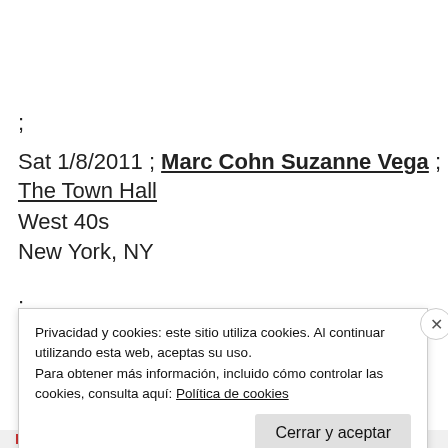;
Sat 1/8/2011 ; Marc Cohn Suzanne Vega ; The Town Hall West 40s New York, NY
;
Sun 1/9/2011 ; Quartone Quartet ; Birdland
Privacidad y cookies: este sitio utiliza cookies. Al continuar utilizando esta web, aceptas su uso.
Para obtener más información, incluido cómo controlar las cookies, consulta aquí: Política de cookies
Cerrar y aceptar